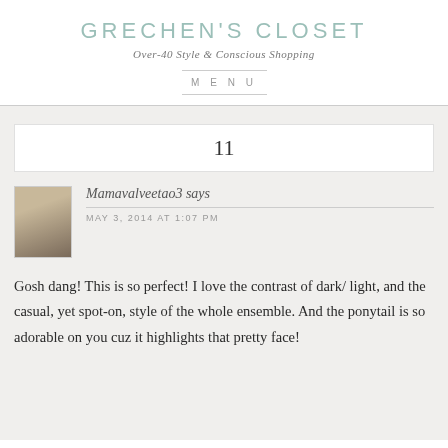GRECHEN'S CLOSET
Over-40 Style & Conscious Shopping
MENU
11
Mamavalveetao3 says
MAY 3, 2014 AT 1:07 PM
Gosh dang! This is so perfect! I love the contrast of dark/ light, and the casual, yet spot-on, style of the whole ensemble. And the ponytail is so adorable on you cuz it highlights that pretty face!